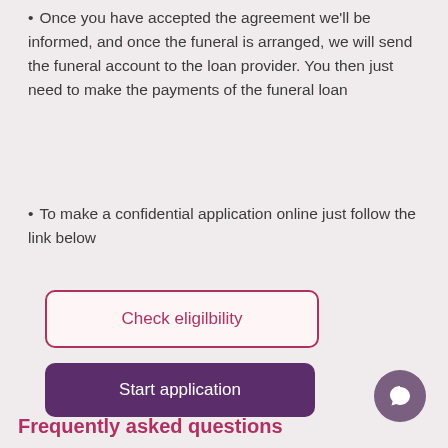Once you have accepted the agreement we'll be informed, and once the funeral is arranged, we will send the funeral account to the loan provider. You then just need to make the payments of the funeral loan
To make a confidential application online just follow the link below
Check eligilbility
Start application
Frequently asked questions